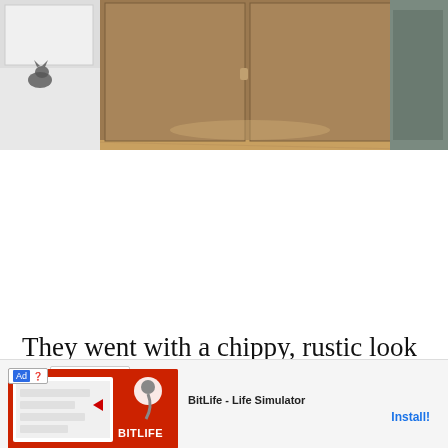[Figure (photo): Kitchen photo showing wooden cabinet panels, hardwood flooring, and what appears to be a cat near white cabinets on the left side]
They went with a chippy, rustic look for the back wall, subway tile for the backsplash and open shelving, all popular
[Figure (screenshot): Mobile advertisement overlay for BitLife - Life Simulator app, showing ad badge, game screenshot with 'You can't sit with us' text, BitLife logo, and Install button]